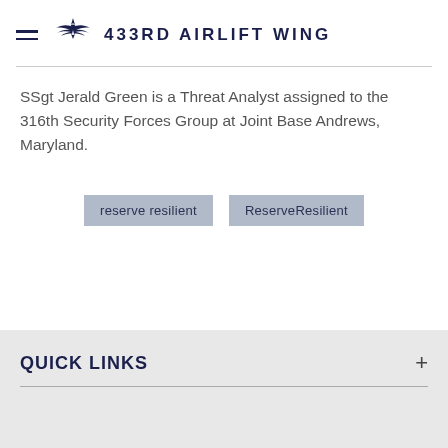433RD AIRLIFT WING
SSgt Jerald Green is a Threat Analyst assigned to the 316th Security Forces Group at Joint Base Andrews, Maryland.
reserve resilient
ReserveResilient
QUICK LINKS